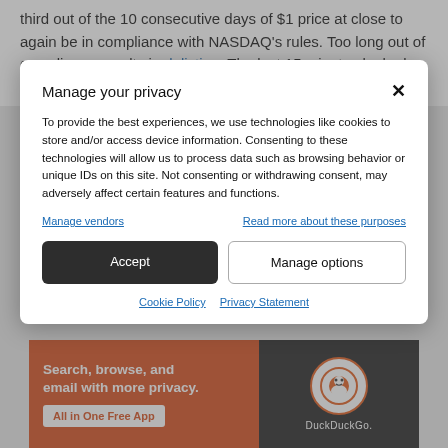third out of the 10 consecutive days of $1 price at close to again be in compliance with NASDAQ's rules. Too long out of compliance results in delisting. The last 15 minutes looked like this:
[Figure (screenshot): Cookie/privacy consent modal overlay on a webpage. Modal title: 'Manage your privacy'. Body text about cookies and device information. Links: 'Manage vendors', 'Read more about these purposes'. Buttons: 'Accept' (dark), 'Manage options' (outline). Footer links: 'Cookie Policy', 'Privacy Statement'. Behind the modal, a DuckDuckGo advertisement banner is partially visible.]
Search, browse, and email with more privacy. All in One Free App. DuckDuckGo.